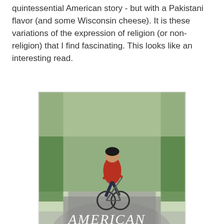quintessential American story - but with a Pakistani flavor (and some Wisconsin cheese). It is these variations of the expression of religion (or non-religion) that I find fascinating. This looks like an interesting read.
[Figure (photo): Book cover of 'American Dervish' by Ayad Akhtar. Shows a person riding a bicycle on a tree-lined path. Title text reads 'AMERICAN DERVISH' and author name 'Ayad Akhtar' at the bottom.]
In any case, here is a Fresh Air interview with Ayad Akhtar. Terry Gross seems to be flummoxed by the fact that his parents are from Pakistan and yet they are not religious. Does not compute. But then she talks more about his own religious practices and how it merges with his theater training (he is also and actor).